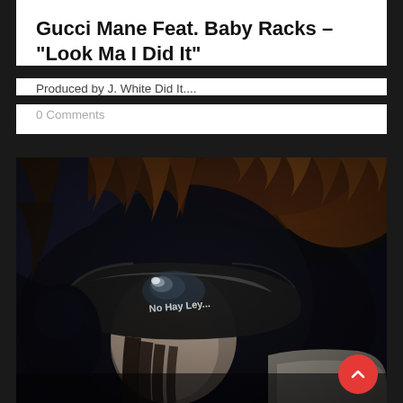Gucci Mane Feat. Baby Racks – "Look Ma I Did It"
Produced by J. White Did It....
0 Comments
[Figure (photo): Close-up photo of a person wearing large black visor-style sunglasses with text 'NO HAY LEY' written on the lens, wearing a fur coat/hat, dark atmospheric background]